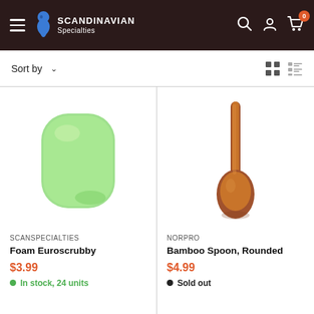Scandinavian Specialties — site header with navigation
Sort by ▾
[Figure (photo): Green foam Euroscrubby sponge, rounded rectangular shape]
SCANSPECIALTIES
Foam Euroscrubby
$3.99
In stock, 24 units
[Figure (photo): Bamboo spoon with rounded bowl, brown wood color, on white background]
NORPRO
Bamboo Spoon, Rounded
$4.99
Sold out